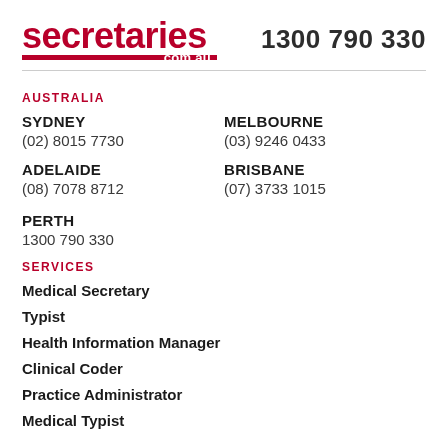[Figure (logo): secretaries.com.au logo in dark red with red underbar, alongside phone number 1300 790 330]
AUSTRALIA
SYDNEY
(02) 8015 7730
MELBOURNE
(03) 9246 0433
ADELAIDE
(08) 7078 8712
BRISBANE
(07) 3733 1015
PERTH
1300 790 330
SERVICES
Medical Secretary
Typist
Health Information Manager
Clinical Coder
Practice Administrator
Medical Typist